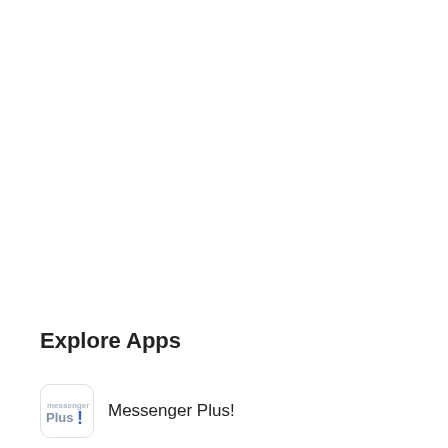Explore Apps
Messenger Plus!
WeChat